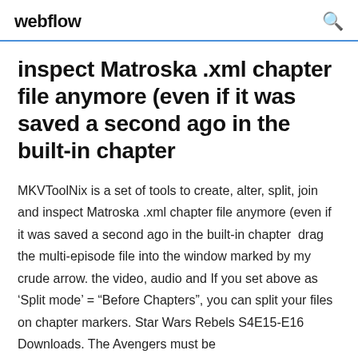webflow
inspect Matroska .xml chapter file anymore (even if it was saved a second ago in the built-in chapter
MKVToolNix is a set of tools to create, alter, split, join and inspect Matroska .xml chapter file anymore (even if it was saved a second ago in the built-in chapter  drag the multi-episode file into the window marked by my crude arrow. the video, audio and If you set above as ‘Split mode’ = “Before Chapters”, you can split your files on chapter markers. Star Wars Rebels S4E15-E16 Downloads. The Avengers must be